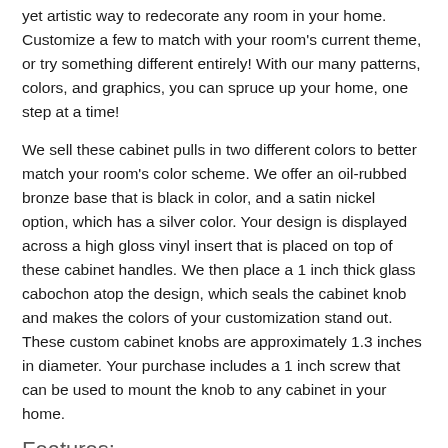yet artistic way to redecorate any room in your home. Customize a few to match with your room's current theme, or try something different entirely! With our many patterns, colors, and graphics, you can spruce up your home, one step at a time!
We sell these cabinet pulls in two different colors to better match your room's color scheme. We offer an oil-rubbed bronze base that is black in color, and a satin nickel option, which has a silver color. Your design is displayed across a high gloss vinyl insert that is placed on top of these cabinet handles. We then place a 1 inch thick glass cabochon atop the design, which seals the cabinet knob and makes the colors of your customization stand out. These custom cabinet knobs are approximately 1.3 inches in diameter. Your purchase includes a 1 inch screw that can be used to mount the knob to any cabinet in your home.
Features:
Base crafted from metal
Glass cabochon at top
Approximately 1.3" in diameter
Two colors available: oil-rubbed bronze (black-colored),